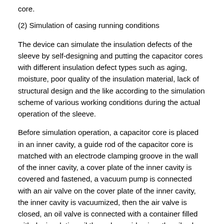core.
(2) Simulation of casing running conditions
The device can simulate the insulation defects of the sleeve by self-designing and putting the capacitor cores with different insulation defect types such as aging, moisture, poor quality of the insulation material, lack of structural design and the like according to the simulation scheme of various working conditions during the actual operation of the sleeve.
Before simulation operation, a capacitor core is placed in an inner cavity, a guide rod of the capacitor core is matched with an electrode clamping groove in the wall of the inner cavity, a cover plate of the inner cavity is covered and fastened, a vacuum pump is connected with an air valve on the cover plate of the inner cavity, the inner cavity is vacuumized, then the air valve is closed, an oil valve is connected with a container filled with dry insulating oil through a guide pipe, the oil valve is opened, the insulating oil is injected into the inner cavity through the air pressure difference between the inner cavity and the external environment, and standing is carried out for 72 hours, so